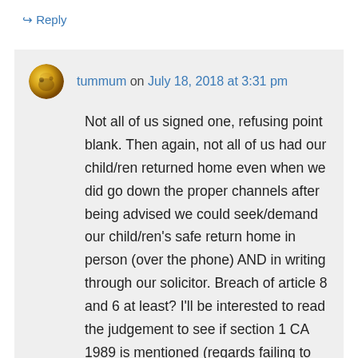↳ Reply
tummum on July 18, 2018 at 3:31 pm
Not all of us signed one, refusing point blank. Then again, not all of us had our child/ren returned home even when we did go down the proper channels after being advised we could seek/demand our child/ren's safe return home in person (over the phone) AND in writing through our solicitor. Breach of article 8 and 6 at least? I'll be interested to read the judgement to see if section 1 CA 1989 is mentioned (regards failing to carry out a fair balancing exercise with welfare checks) after reading